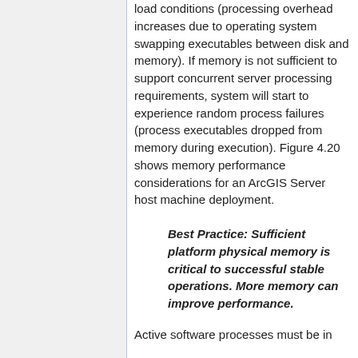load conditions (processing overhead increases due to operating system swapping executables between disk and memory). If memory is not sufficient to support concurrent server processing requirements, system will start to experience random process failures (process executables dropped from memory during execution). Figure 4.20 shows memory performance considerations for an ArcGIS Server host machine deployment.
Best Practice: Sufficient platform physical memory is critical to successful stable operations. More memory can improve performance.
Active software processes must be in